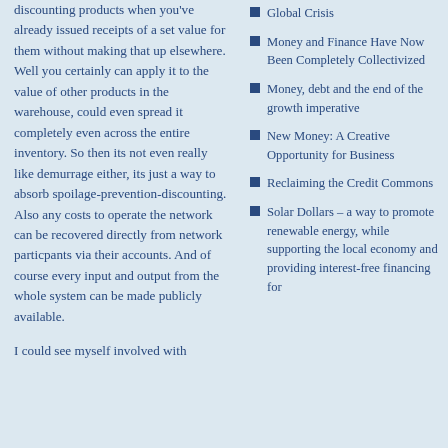discounting products when you've already issued receipts of a set value for them without making that up elsewhere. Well you certainly can apply it to the value of other products in the warehouse, could even spread it completely even across the entire inventory. So then its not even really like demurrage either, its just a way to absorb spoilage-prevention-discounting. Also any costs to operate the network can be recovered directly from network particpants via their accounts. And of course every input and output from the whole system can be made publicly available.
I could see myself involved with
Global Crisis
Money and Finance Have Now Been Completely Collectivized
Money, debt and the end of the growth imperative
New Money: A Creative Opportunity for Business
Reclaiming the Credit Commons
Solar Dollars – a way to promote renewable energy, while supporting the local economy and providing interest-free financing for